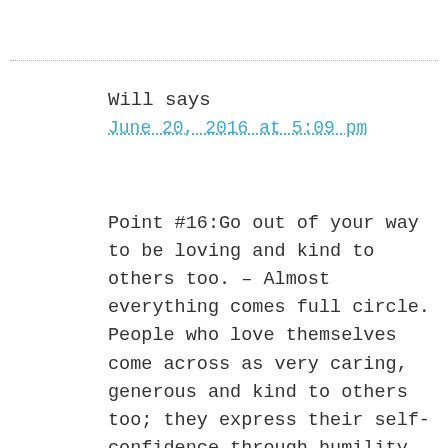Will says
June 20, 2016 at 5:09 pm
Point #16:Go out of your way to be loving and kind to others too. – Almost everything comes full circle. People who love themselves come across as very caring, generous and kind to others too; they express their self-confidence through humility, forgiveness and inclusiveness. So seek to understand others before you attempt to judge. And be thankful for rude, difficult people too – they serve as great reminders of how not to be.